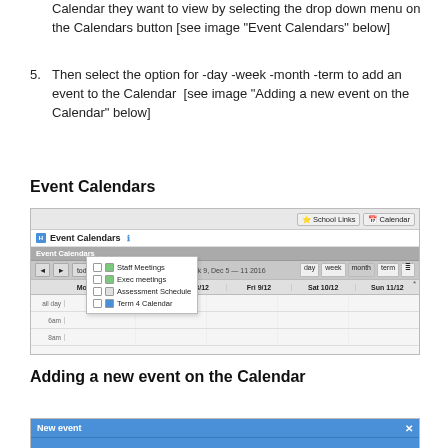Calendar they want to view by selecting the drop down menu on the Calendars button [see image "Event Calendars" below]
5. Then select the option for -day -week -month -term to add an event to the Calendar  [see image "Adding a new event on the Calendar" below]
Event Calendars
[Figure (screenshot): Screenshot of a school calendar web application showing 'Event Calendars' panel with a dropdown menu listing: Staff Meetings, Exec meetings, Assessment Schedule, Term 4 Calendar. The calendar shows Week 9, Dec 5-11 2016 view.]
Adding a new event on the Calendar
[Figure (screenshot): Partial screenshot showing the top of a 'New event' dialog box with a blue title bar.]